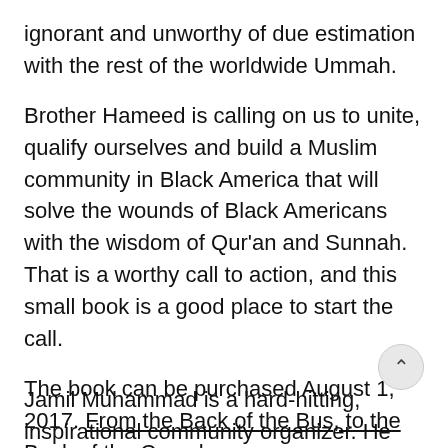ignorant and unworthy of due estimation with the rest of the worldwide Ummah.
Brother Hameed is calling on us to unite, qualify ourselves and build a Muslim community in Black America that will solve the wounds of Black Americans with the wisdom of Qur'an and Sunnah. That is a worthy call to action, and this small book is a good place to start the call.
The book can be purchased August 1, 2017. From the Back of the Bus, to the Back of the Camel
Jamil Muhammad is a hard-hitting, inspirational community organizer. He